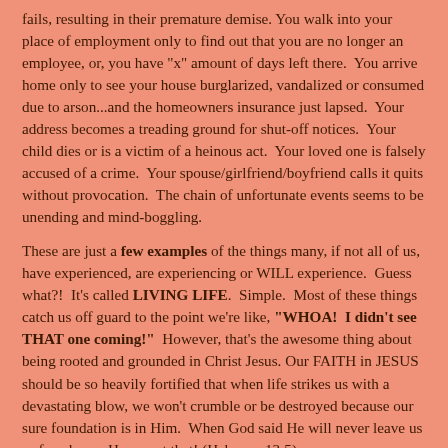fails, resulting in their premature demise. You walk into your place of employment only to find out that you are no longer an employee, or, you have "x" amount of days left there. You arrive home only to see your house burglarized, vandalized or consumed due to arson...and the homeowners insurance just lapsed. Your address becomes a treading ground for shut-off notices. Your child dies or is a victim of a heinous act. Your loved one is falsely accused of a crime. Your spouse/girlfriend/boyfriend calls it quits without provocation. The chain of unfortunate events seems to be unending and mind-boggling.
These are just a few examples of the things many, if not all of us, have experienced, are experiencing or WILL experience. Guess what?! It's called LIVING LIFE. Simple. Most of these things catch us off guard to the point we're like, "WHOA! I didn't see THAT one coming!" However, that's the awesome thing about being rooted and grounded in Christ Jesus. Our FAITH in JESUS should be so heavily fortified that when life strikes us with a devastating blow, we won't crumble or be destroyed because our sure foundation is in Him. When God said He will never leave us or forsake us, He meant that! (Hebrews 13:5)
Also, sometimes God will allow things to happen for the sake of an